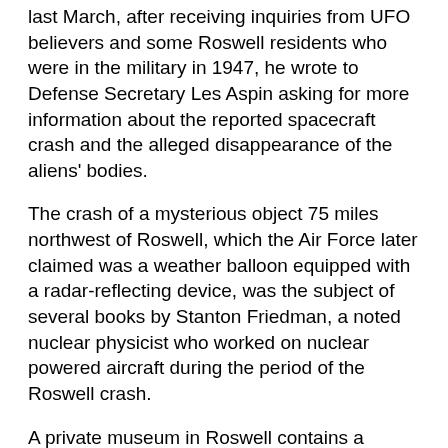last March, after receiving inquiries from UFO believers and some Roswell residents who were in the military in 1947, he wrote to Defense Secretary Les Aspin asking for more information about the reported spacecraft crash and the alleged disappearance of the aliens' bodies.
The crash of a mysterious object 75 miles northwest of Roswell, which the Air Force later claimed was a weather balloon equipped with a radar-reflecting device, was the subject of several books by Stanton Friedman, a noted nuclear physicist who worked on nuclear powered aircraft during the period of the Roswell crash.
A private museum in Roswell contains a number of documents and photographs purporting to prove the existence of the aliens.
Additionally, FBI spokespersons have admitted that the object they examined from the Roswell site was definitely "not a weather balloon."